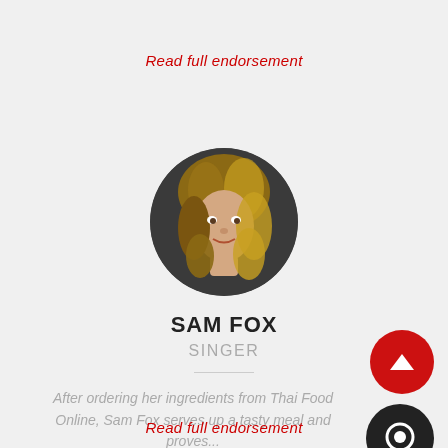Read full endorsement
[Figure (photo): Circular portrait photo of Sam Fox, a blonde woman]
SAM FOX
SINGER
After ordering her ingredients from Thai Food Online, Sam Fox serves up a tasty meal and proves...
Read full endorsement